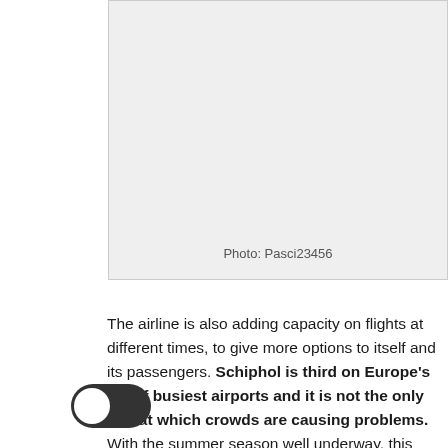[Figure (photo): Light grey photo placeholder box with photo credit 'Photo: Pasci23456' centered at the bottom]
Photo: Pasci23456
The airline is also adding capacity on flights at different times, to give more options to itself and its passengers. Schiphol is third on Europe's list of busiest airports and it is not the only one at which crowds are causing problems. With the summer season well underway, this appears to be a theme around Europe and elsewhere.
During the previous weekend, a similar issue hit Dublin Airport (EIDW) in Ireland. On Sunday alone, over 1,000 passengers missed their flights, because of queues in security that lasted hours. The airport authority advises passengers to get to the airport two-and-a-half